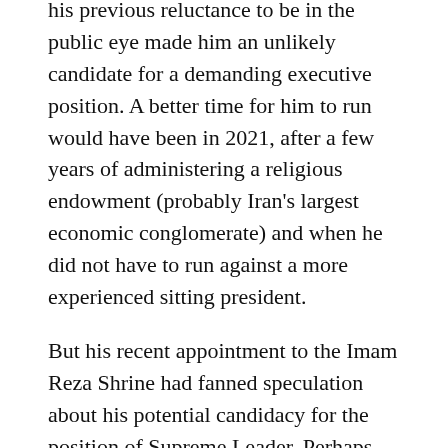his previous reluctance to be in the public eye made him an unlikely candidate for a demanding executive position. A better time for him to run would have been in 2021, after a few years of administering a religious endowment (probably Iran's largest economic conglomerate) and when he did not have to run against a more experienced sitting president.
But his recent appointment to the Imam Reza Shrine had fanned speculation about his potential candidacy for the position of Supreme Leader. Perhaps these speculations convinced the alliance of principlist organizations and groups that someone perceived as “the Leader’s candidate”—a perception the international media readily consumed and repeated by as well—boosted Raisi’s chances. Or perhaps Raisi was convinced that he needed a stint